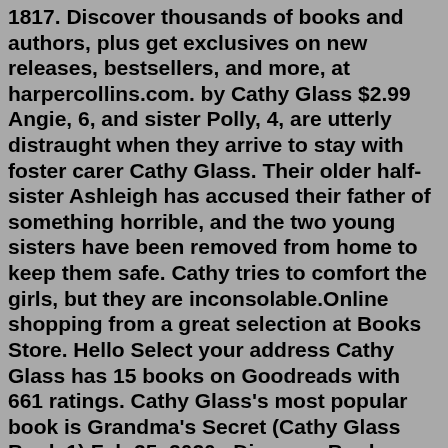1817. Discover thousands of books and authors, plus get exclusives on new releases, bestsellers, and more, at harpercollins.com. by Cathy Glass $2.99 Angie, 6, and sister Polly, 4, are utterly distraught when they arrive to stay with foster carer Cathy Glass. Their older half-sister Ashleigh has accused their father of something horrible, and the two young sisters have been removed from home to keep them safe. Cathy tries to comfort the girls, but they are inconsolable.Online shopping from a great selection at Books Store. Hello Select your address Cathy Glass has 15 books on Goodreads with 661 ratings. Cathy Glass's most popular book is Grandma's Secret (Cathy Glass Book 1).Feb 25, 2020 · Discover Book Depository's huge selection of Cathy Glass books online. Free delivery worldwide on over 20 million titles. ... Cathy Glass. 09 Apr 2009. Paperback ... Cathy Glass has 15 books on Goodreads with 661 ratings. Cathy Glass's most popular book is Grandma's Secret (Cathy Glass Book 1).Publishing great authors since 1817. Discover thousands of books